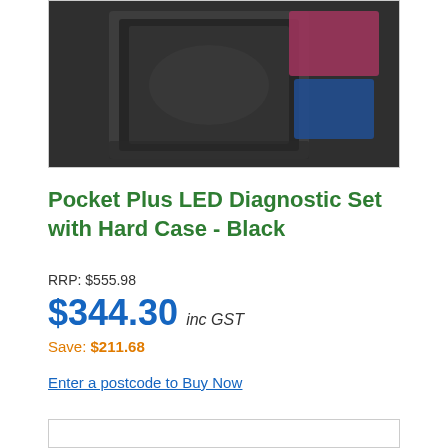[Figure (photo): Product photo of Pocket Plus LED Diagnostic Set with Hard Case in Black, shown as a blurred/obscured product box image with dark background and some color visible]
Pocket Plus LED Diagnostic Set with Hard Case - Black
RRP: $555.98
$344.30  inc GST
Save: $211.68
Enter a postcode to Buy Now